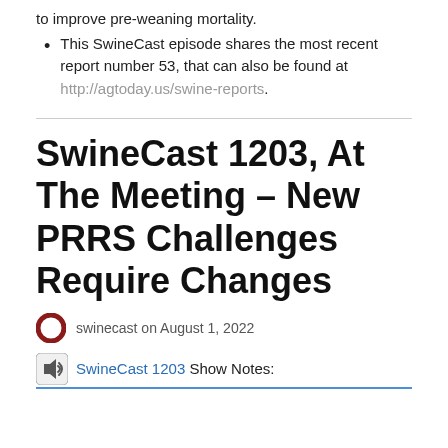This SwineCast episode shares the most recent report number 53, that can also be found at http://agtoday.us/swine-reports.
SwineCast 1203, At The Meeting – New PRRS Challenges Require Changes
swinecast on August 1, 2022
SwineCast 1203 Show Notes: